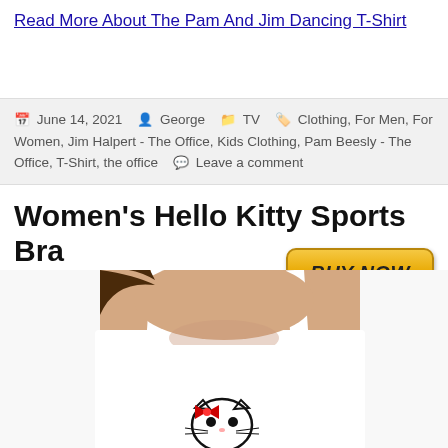Read More About The Pam And Jim Dancing T-Shirt
June 14, 2021  George  TV  Clothing, For Men, For Women, Jim Halpert - The Office, Kids Clothing, Pam Beesly - The Office, T-Shirt, the office  Leave a comment
[Figure (other): BUY NOW button in orange/gold gradient styling]
Women’s Hello Kitty Sports Bra
[Figure (photo): Woman wearing white Hello Kitty sports bra, showing the bra from shoulders down with Hello Kitty logo on front]